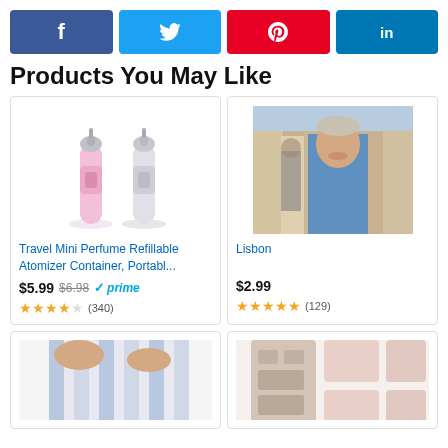[Figure (infographic): Social media share buttons: Facebook (blue), Twitter (light blue), Pinterest (red), LinkedIn (dark blue)]
Products You May Like
[Figure (photo): Two travel mini perfume refillable atomizer containers, one pink and one silver, standing upright]
Travel Mini Perfume Refillable Atomizer Container, Portabl... $5.99 $6.98 prime (340)
[Figure (photo): Man smiling on a European street, leaning out of a tram or doorway — book cover for Lisbon]
Lisbon $2.99 (129)
[Figure (photo): Hands holding a striped packing bag or travel organizer (partial, bottom of page)]
[Figure (photo): Jewelry organizer roll in pale pink/beige with multiple compartments (partial, bottom of page)]